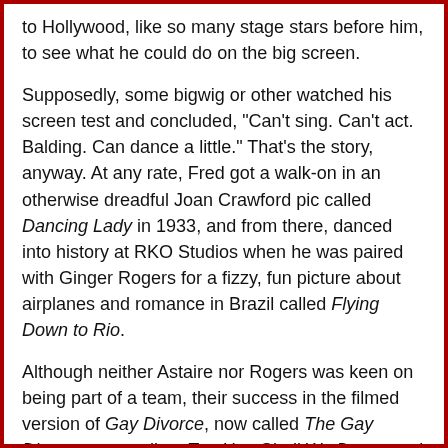to Hollywood, like so many stage stars before him, to see what he could do on the big screen.
Supposedly, some bigwig or other watched his screen test and concluded, "Can't sing. Can't act. Balding. Can dance a little." That's the story, anyway. At any rate, Fred got a walk-on in an otherwise dreadful Joan Crawford pic called Dancing Lady in 1933, and from there, danced into history at RKO Studios when he was paired with Ginger Rogers for a fizzy, fun picture about airplanes and romance in Brazil called Flying Down to Rio.
Although neither Astaire nor Rogers was keen on being part of a team, their success in the filmed version of Gay Divorce, now called The Gay Divorcee, as well as Top Hat, Shall We Dance and Swing Time, pretty much assured their names would be linked forever. They were huge for RKO, they were huge for Hollywood, and they were huge for the development of musicals on film.
Astaire was more than just a gifted dancer and charming performer. He sweated every detail of every dance,